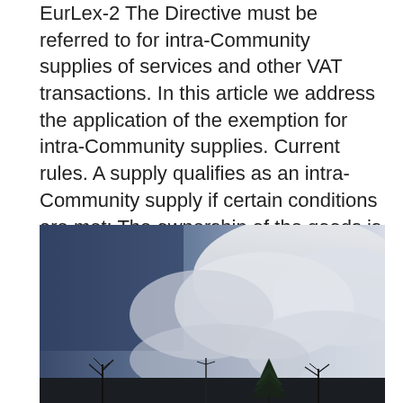EurLex-2 The Directive must be referred to for intra-Community supplies of services and other VAT transactions. In this article we address the application of the exemption for intra-Community supplies. Current rules. A supply qualifies as an intra-Community supply if certain conditions are met: The ownership of the goods is transferred. The customer is a VAT entrepreneur or another person required to report intra-Community acquisitions.
Handläggare migrationsverket utbildning
[Figure (photo): Photograph of a winter sky scene with dark blue sky on the left, white clouds on the right, and bare trees and an evergreen tree silhouetted at the bottom.]